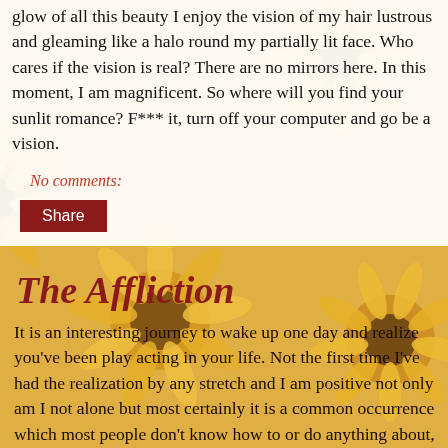glow of all this beauty I enjoy the vision of my hair lustrous and gleaming like a halo round my partially lit face. Who cares if the vision is real? There are no mirrors here. In this moment, I am magnificent. So where will you find your sunlit romance? F*** it, turn off your computer and go be a vision.
No comments:
Share
The Affliction
It is an interesting journey to wake up one day and realize you've been play acting in your life. Not the first time I've had the realization by any stretch and I am positive not only am I not alone but most certainly it is a common occurrence which most people don't know how to or do anything about, but perhaps the most surprising since I thought I was finally at the stage of recognition. But I suppose each new hurdle, encounter, experience, what-have-you affords you yet another opportunity to slip up and this latest was just so much that I thought for sure this time drama and suffering